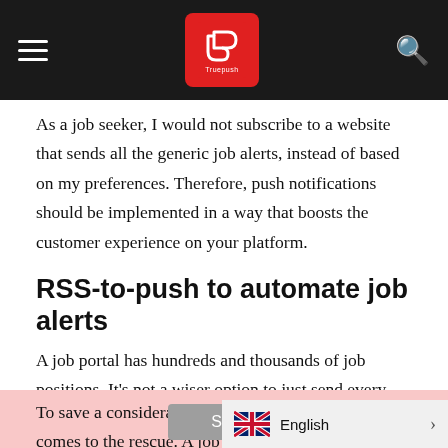[Navigation bar with hamburger menu, Truepush logo, and search icon]
As a job seeker, I would not subscribe to a website that sends all the generic job alerts, instead of based on my preferences. Therefore, push notifications should be implemented in a way that boosts the customer experience on your platform.
RSS-to-push to automate job alerts
A job portal has hundreds and thousands of job positions. It's not a wiser option to just send every update through manual push notifications.
To save a considerable amount of time, RSS-to-push comes to the rescue. A job website can automate its push notifications using this feature.